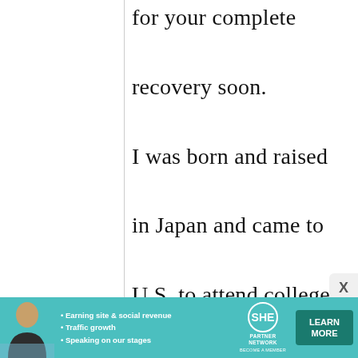for your complete recovery soon.

I was born and raised in Japan and came to U.S. to attend college. Opportunity had it so

so I appreciated your
[Figure (other): Advertisement banner for SHE Partner Network featuring a woman photo, bullet points about earning site & social revenue, traffic growth, speaking on our stages, the SHE Media logo, and a Learn More button in teal/dark green colors.]